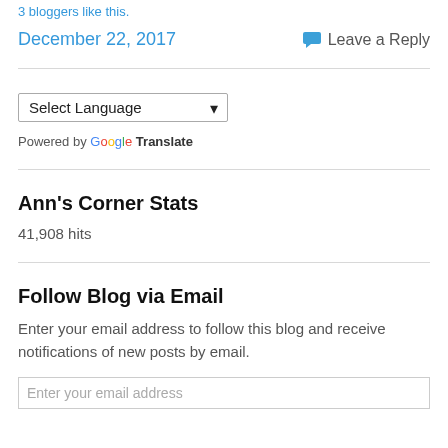3 bloggers like this.
December 22, 2017
Leave a Reply
Select Language
Powered by Google Translate
Ann's Corner Stats
41,908 hits
Follow Blog via Email
Enter your email address to follow this blog and receive notifications of new posts by email.
Enter your email address